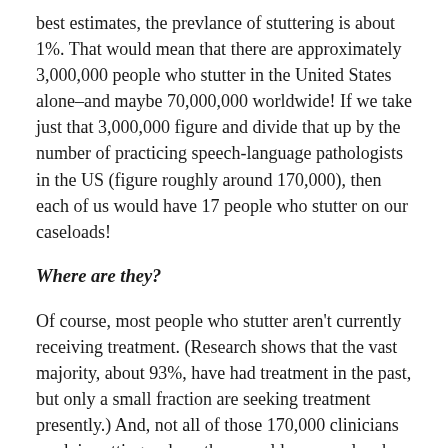best estimates, the prevlance of stuttering is about 1%. That would mean that there are approximately 3,000,000 people who stutter in the United States alone–and maybe 70,000,000 worldwide! If we take just that 3,000,000 figure and divide that up by the number of practicing speech-language pathologists in the US (figure roughly around 170,000), then each of us would have 17 people who stutter on our caseloads!
Where are they?
Of course, most people who stutter aren't currently receiving treatment. (Research shows that the vast majority, about 93%, have had treatment in the past, but only a small fraction are seeking treatment presently.) And, not all of those 170,000 clinicians work in settings where they would see people who stutter. Still, in the calculus, one would expect the...